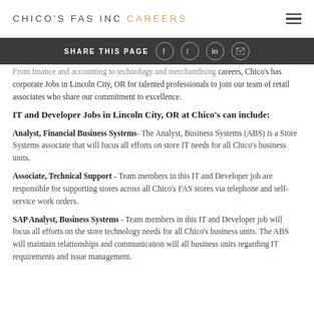CHICO'S FAS INC CAREERS
SHARE THIS PAGE
From finance and accounting to technology and merchandising careers, Chico's has corporate Jobs in Lincoln City, OR for talented professionals to join our team of retail associates who share our commitment to excellence.
IT and Developer Jobs in Lincoln City, OR at Chico's can include:
Analyst, Financial Business Systems- The Analyst, Business Systems (ABS) is a Store Systems associate that will focus all efforts on store IT needs for all Chico's business units.
Associate, Technical Support - Team members in this IT and Developer job are responsible for supporting stores across all Chico's FAS stores via telephone and self-service work orders.
SAP Analyst, Business Systems - Team members in this IT and Developer job will focus all efforts on the store technology needs for all Chico's business units. The ABS will maintain relationships and communication will all business units regarding IT requirements and issue management.